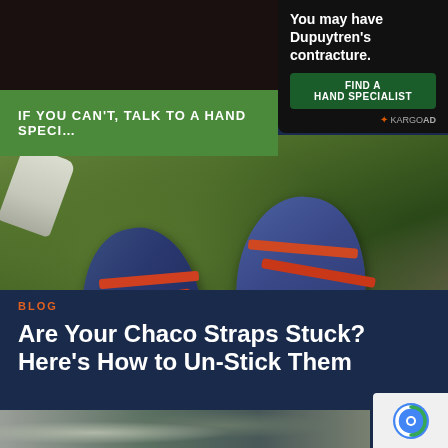[Figure (screenshot): Advertisement overlay in top-right: dark background with text 'You may have Dupuytren's contracture.' and a green 'FIND A HAND SPECIALIST' button, with KARGO AD label]
[Figure (photo): Green banner reading 'IF YOU CAN'T, TALK TO A HAND SPECI...' (truncated by ad overlay)]
[Figure (photo): Overhead photo of two blue Chaco sandals with orange straps on green grass, with a white water bottle nearby]
BLOG
Are Your Chaco Straps Stuck? Here's How to Un-Stick Them
[Figure (photo): Bottom portion of another image partially visible, appears to be trees/branches. A reCAPTCHA badge is visible in the corner.]